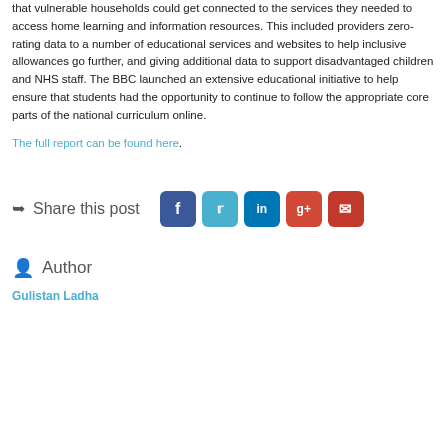that vulnerable households could get connected to the services they needed to access home learning and information resources. This included providers zero-rating data to a number of educational services and websites to help inclusive allowances go further, and giving additional data to support disadvantaged children and NHS staff. The BBC launched an extensive educational initiative to help ensure that students had the opportunity to continue to follow the appropriate core parts of the national curriculum online.
The full report can be found here.
Share this post
Author
Gulistan Ladha